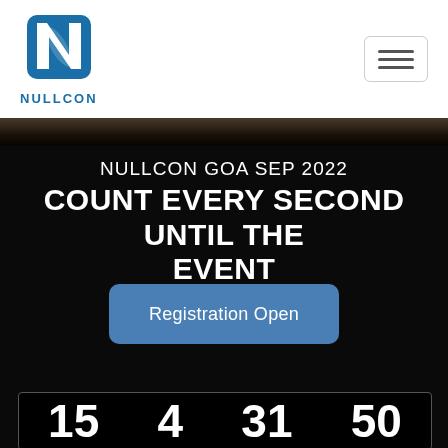[Figure (logo): NULLCON logo: blue N letter mark with diagonal slash, text NULLCON below in blue]
[Figure (screenshot): Hamburger menu button with three horizontal lines inside a rounded rectangle border]
[Figure (photo): Dark brownish image strip at top of dark section]
NULLCON GOA SEP 2022
COUNT EVERY SECOND UNTIL THE EVENT
Registration Open
15 4 31 50